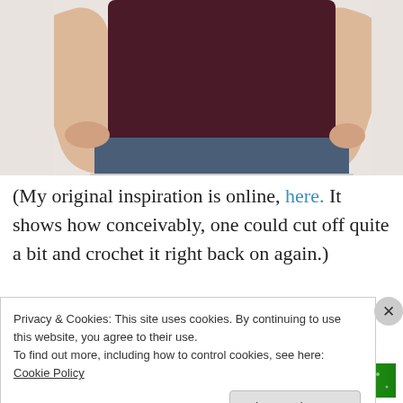[Figure (photo): Photo of a person wearing a dark maroon/burgundy top with black lace trim at the hem, and jeans. The person has their hands on their hips. Only the torso and arms are visible.]
(My original inspiration is online, here. It shows how conceivably, one could cut off quite a bit and crochet it right back on again.)
Advertisements
[Figure (other): Green advertisement banner]
Privacy & Cookies: This site uses cookies. By continuing to use this website, you agree to their use.
To find out more, including how to control cookies, see here: Cookie Policy
Close and accept